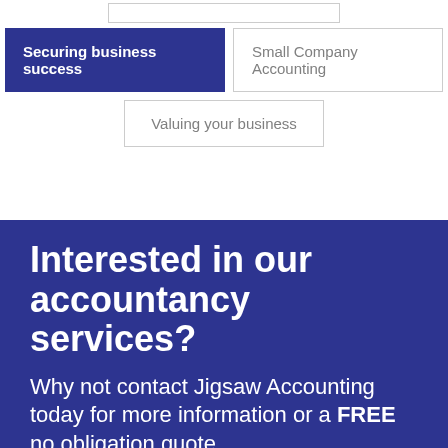[Figure (other): Navigation button partially visible at top - white outlined button]
Securing business success
Small Company Accounting
Valuing your business
Interested in our accountancy services?
Why not contact Jigsaw Accounting today for more information or a FREE no obligation quote.